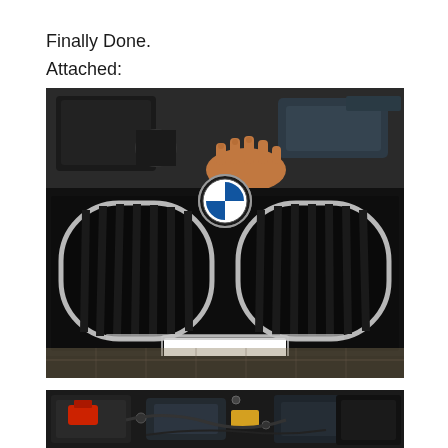Finally Done.
Attached:
[Figure (photo): Front view of a black BMW car showing the iconic kidney grille and BMW roundel emblem, with the hood open and a person's hand visible placing a component in the engine bay. The photo is taken from the front of the car on a tiled surface.]
[Figure (photo): Partial view of a BMW engine bay showing various components including what appears to be a battery or electronic module with red and other colored connectors.]